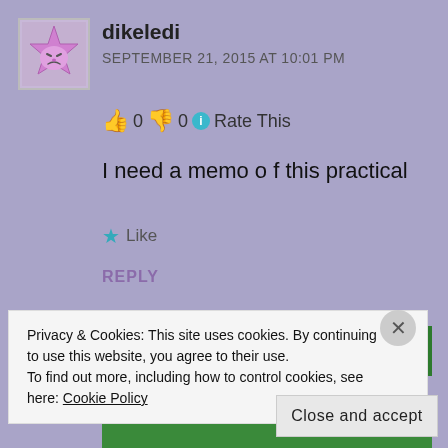[Figure (illustration): User avatar: cartoon pink star/monster face with grumpy expression on a beige/purple background]
dikeledi
SEPTEMBER 21, 2015 AT 10:01 PM
👍 0 👎 0 ℹ Rate This
I need a memo o f this practical
★ Like
REPLY
Advertisements
[Figure (screenshot): Green advertisement banner]
Privacy & Cookies: This site uses cookies. By continuing to use this website, you agree to their use.
To find out more, including how to control cookies, see here: Cookie Policy
Close and accept